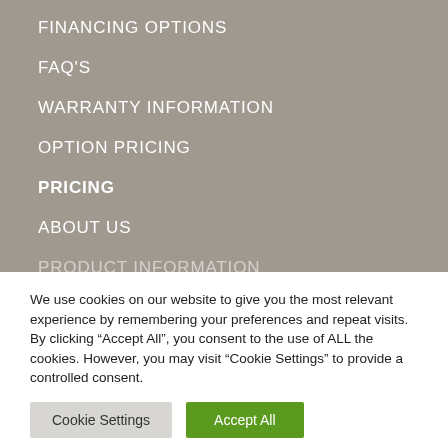FINANCING OPTIONS
FAQ'S
WARRANTY INFORMATION
OPTION PRICING
PRICING
ABOUT US
PRODUCT INFORMATION
We use cookies on our website to give you the most relevant experience by remembering your preferences and repeat visits. By clicking “Accept All”, you consent to the use of ALL the cookies. However, you may visit "Cookie Settings" to provide a controlled consent.
Cookie Settings | Accept All